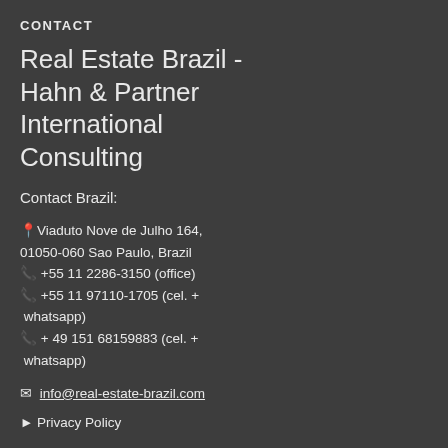CONTACT
Real Estate Brazil - Hahn & Partner International Consulting
Contact Brazil:
📍 Viaduto Nove de Julho 164, 01050-060 Sao Paulo, Brazil
📞 +55 11 2286-3150 (office)
📞 +55 11 97110-1705 (cel. + whatsapp)
📞 + 49 151 68159883 (cel. + whatsapp)
✉ info@real-estate-brazil.com
▶ Privacy Policy